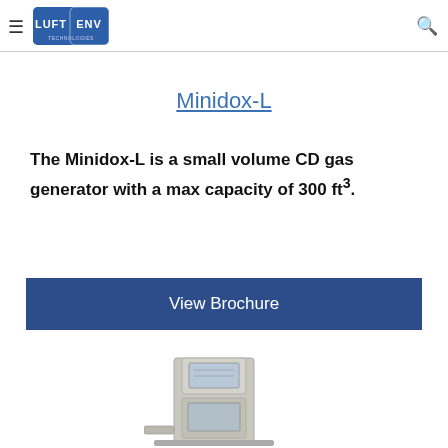LUFT ENV TECHNOLOGIES
Minidox-L
The Minidox-L is a small volume CD gas generator with a max capacity of 300 ft³.
View Brochure
[Figure (photo): Photo of the Minidox-L device — a beige/grey boxy gas generator unit with a display panel and control interface]